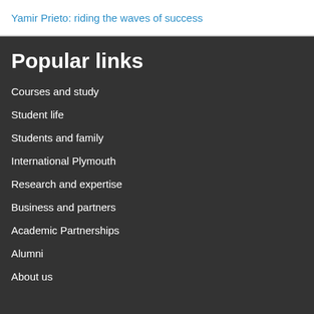Yamir Prieto: riding the waves of success
Popular links
Courses and study
Student life
Students and family
International Plymouth
Research and expertise
Business and partners
Academic Partnerships
Alumni
About us